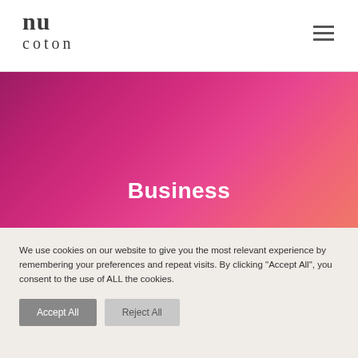[Figure (logo): nu coton brand logo — stylized 'nu' letterform above the word 'coton' in serif type]
[Figure (illustration): Hamburger menu icon (three horizontal lines) in the top right corner]
[Figure (illustration): Pink-to-red gradient hero banner background]
Business
We use cookies on our website to give you the most relevant experience by remembering your preferences and repeat visits. By clicking “Accept All”, you consent to the use of ALL the cookies.
Accept All
Reject All